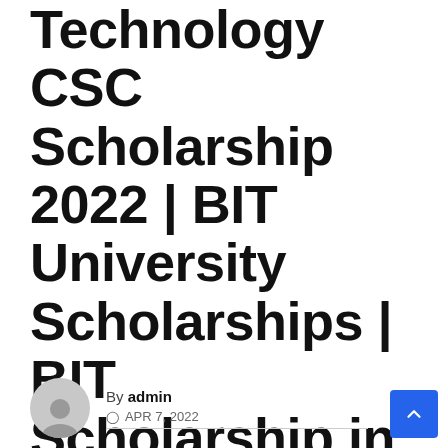Technology CSC Scholarship 2022 | BIT University Scholarships | BIT Scholarship in China
By admin
APR 7, 2022